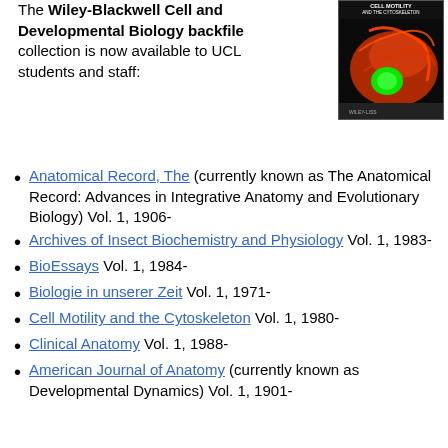The Wiley-Blackwell Cell and Developmental Biology backfile collection is now available to UCL students and staff:
[Figure (photo): Journal cover of Cell Motility and the Cytoskeleton showing a fluorescence microscopy image of a cell with green and red structures]
Anatomical Record, The (currently known as The Anatomical Record: Advances in Integrative Anatomy and Evolutionary Biology) Vol. 1, 1906-
Archives of Insect Biochemistry and Physiology Vol. 1, 1983-
BioEssays Vol. 1, 1984-
Biologie in unserer Zeit Vol. 1, 1971-
Cell Motility and the Cytoskeleton Vol. 1, 1980-
Clinical Anatomy Vol. 1, 1988-
American Journal of Anatomy (currently known as Developmental Dynamics) Vol. 1, 1901-